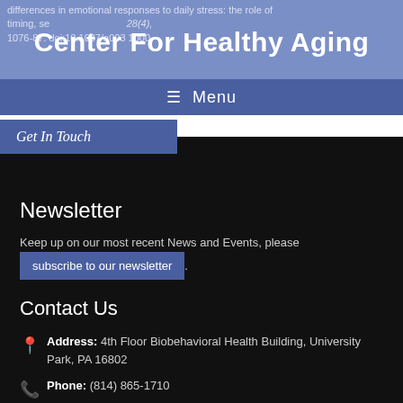differences in emotional responses to daily stress: the role of timing, sex, and age. Emotion, 28(4), 1076-87. doi:10.1037/a003 1000.
Center For Healthy Aging
☰ Menu
Get In Touch
Newsletter
Keep up on our most recent News and Events, please subscribe to our newsletter.
Contact Us
Address: 4th Floor Biobehavioral Health Building, University Park, PA 16802
Phone: (814) 865-1710